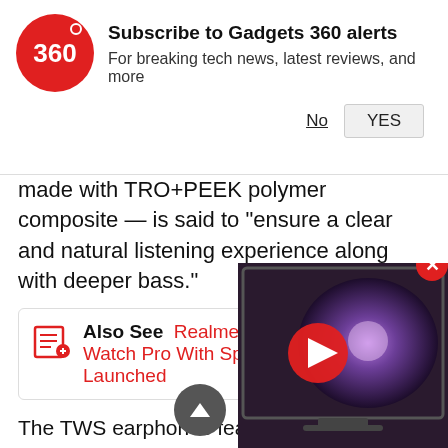Subscribe to Gadgets 360 alerts
For breaking tech news, latest reviews, and more
made with TRO+PEEK polymer composite — is said to "ensure a clear and natural listening experience along with deeper bass."
Also See  Realme Dizo Watch 2, Dizo Watch Pro With SpO2 Monitoring Launched
The TWS earphones feature 88ms s... Game Mode. The Realme Dizo Bud... battery in each earbud and the char... 380mAh battery that gives a total playback time of up to 16 hours. The earbuds can last for up to 4.5 hours on a single charge. Through the USB-Type C port, 10
[Figure (screenshot): Video thumbnail showing a TV with galaxy wallpaper, with a red play button overlay]